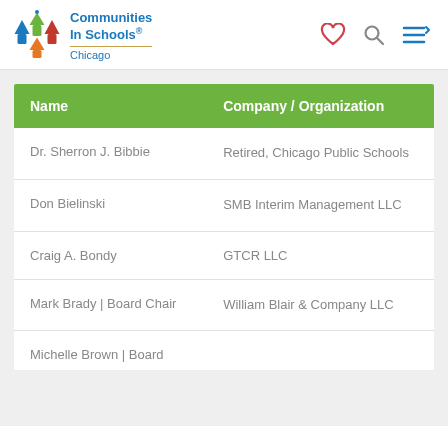Communities In Schools Chicago
| Name | Company / Organization |
| --- | --- |
| Dr. Sherron J. Bibbie | Retired, Chicago Public Schools |
| Don Bielinski | SMB Interim Management LLC |
| Craig A. Bondy | GTCR LLC |
| Mark Brady | Board Chair | William Blair & Company LLC |
| Michelle Brown | Board |  |